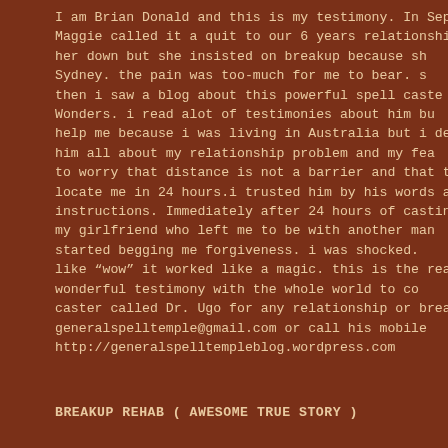I am Brian Donald and this is my testimony. In Sep Maggie called it a quit to our 6 years relationship her down but she insisted on breakup because sh Sydney. the pain was too-much for me to bear. s then i saw a blog about this powerful spell caste Wonders. i read alot of testimonies about him bu help me because i was living in Australia but i de him all about my relationship problem and my fea to worry that distance is not a barrier and that th locate me in 24 hours.i trusted him by his words a instructions. Immediately after 24 hours of castin my girlfriend who left me to be with another man started begging me forgiveness. i was shocked. like "wow" it worked like a magic. this is the reas wonderful testimony with the whole world to co caster called Dr. Ugo for any relationship or brea generalspelltemple@gmail.com or call his mobile http://generalspelltempleblog.wordpress.com
BREAKUP REHAB ( AWESOME TRUE STORY )